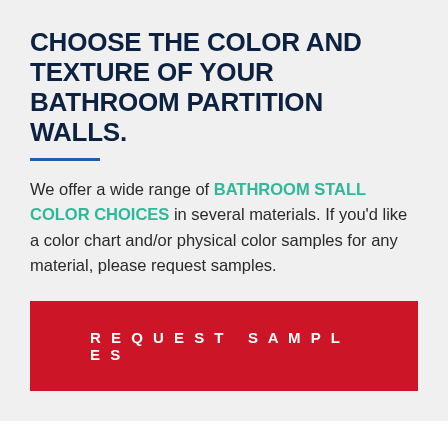CHOOSE THE COLOR AND TEXTURE OF YOUR BATHROOM PARTITION WALLS.
We offer a wide range of BATHROOM STALL COLOR CHOICES in several materials. If you'd like a color chart and/or physical color samples for any material, please request samples.
REQUEST SAMPLES
Our Designers Have the